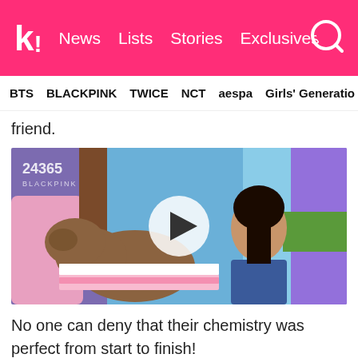k! News Lists Stories Exclusives
BTS BLACKPINK TWICE NCT aespa Girls' Generation
friend.
[Figure (photo): Video thumbnail showing a capybara and a young woman on a colorful TV show set with pink decorations, with a play button overlay. Watermark reads '24365 BLACKPINK'.]
No one can deny that their chemistry was perfect from start to finish!